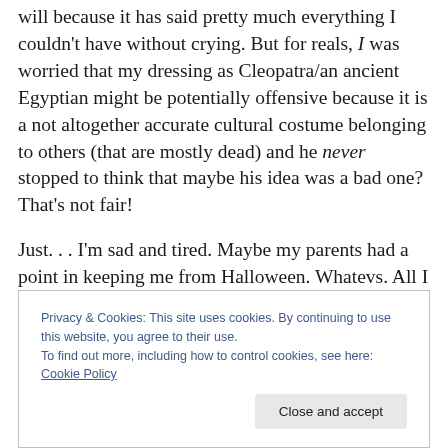will because it has said pretty much everything I couldn't have without crying. But for reals, I was worried that my dressing as Cleopatra/an ancient Egyptian might be potentially offensive because it is a not altogether accurate cultural costume belonging to others (that are mostly dead) and he never stopped to think that maybe his idea was a bad one? That's not fair!
Just. . . I'm sad and tired. Maybe my parents had a point in keeping me from Halloween. Whatevs. All I know is I'm going as fat Bruno Mars next year. We have the same
Privacy & Cookies: This site uses cookies. By continuing to use this website, you agree to their use.
To find out more, including how to control cookies, see here: Cookie Policy